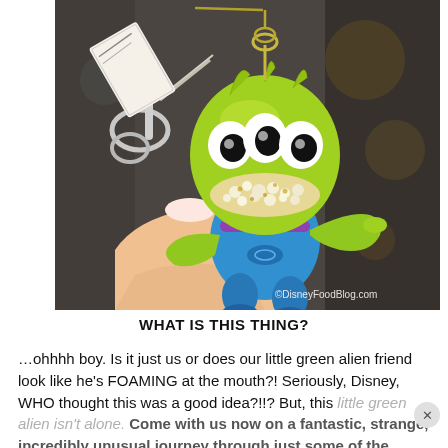[Figure (photo): A green three-eyed alien toy keychain (from Toy Story) being held up by a hand. The alien is wearing a blue and purple spacesuit and has a glittery/foamy texture around its mouth area. Gold chains attach it to a keyring. A store with blurred background is visible. Watermark reads ©DisneyFoodBlog.com]
WHAT IS THIS THING?
…ohhhh boy. Is it just us or does our little green alien friend look like he's FOAMING at the mouth?! Seriously, Disney, WHO thought this was a good idea?!!? But, this little green alien isn't alone. Come with us now on a fantastic, strange, incredibly unusual journey through just some of the Disney souvenirs we've found that